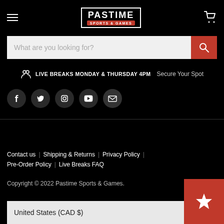Pastime Sports & Games — navigation header with logo, hamburger menu, and cart icon
What are you looking for?
LIVE BREAKS MONDAY & THURSDAY 4PM   Secure Your Spot
[Figure (other): Social media icons row: Facebook, Twitter, Instagram, YouTube, Email]
Contact us  |  Shipping & Returns  |  Privacy Policy  |  Pre-Order Policy  |  Live Breaks FAQ
Copyright © 2022 Pastime Sports & Games.
United States (CAD $)